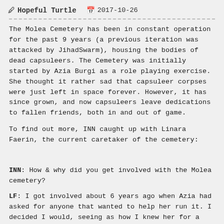🖊 Hopeful Turtle   📅 2017-10-26
The Molea Cemetery has been in constant operation for the past 9 years (a previous iteration was attacked by JihadSwarm), housing the bodies of dead capsuleers. The Cemetery was initially started by Azia Burgi as a role playing exercise. She thought it rather sad that capsuleer corpses were just left in space forever. However, it has since grown, and now capsuleers leave dedications to fallen friends, both in and out of game.
To find out more, INN caught up with Linara Faerin, the current caretaker of the cemetery:
INN: How & why did you get involved with the Molea cemetery?
LF: I got involved about 6 years ago when Azia had asked for anyone that wanted to help her run it. I decided I would, seeing as how I knew her for a time prior to this and didn't mind the work. So I came on as more a caretaker role than anything, and just did general upkeep on the cemetery so that it wouldn't fade away.